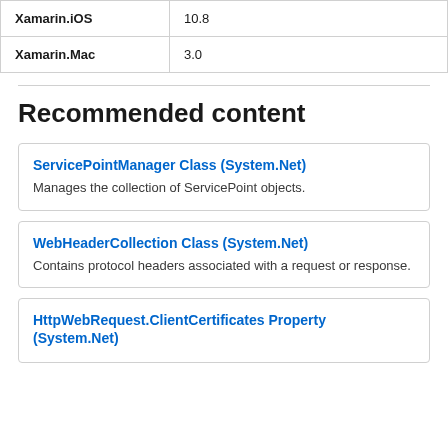|  |  |
| --- | --- |
| Xamarin.iOS | 10.8 |
| Xamarin.Mac | 3.0 |
Recommended content
ServicePointManager Class (System.Net)
Manages the collection of ServicePoint objects.
WebHeaderCollection Class (System.Net)
Contains protocol headers associated with a request or response.
HttpWebRequest.ClientCertificates Property (System.Net)